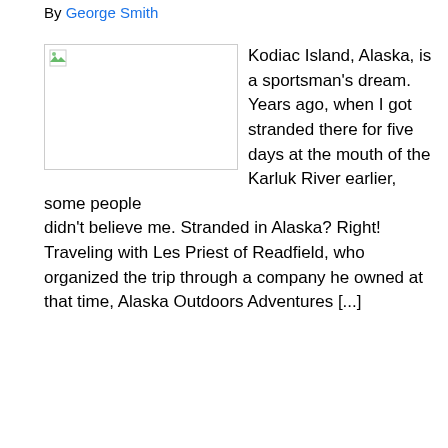By George Smith
[Figure (photo): Broken/missing image placeholder with green icon in top-left corner, displayed as a bordered rectangle]
Kodiac Island, Alaska, is a sportsman's dream. Years ago, when I got stranded there for five days at the mouth of the Karluk River earlier, some people didn't believe me. Stranded in Alaska? Right! Traveling with Les Priest of Readfield, who organized the trip through a company he owned at that time, Alaska Outdoors Adventures [...]